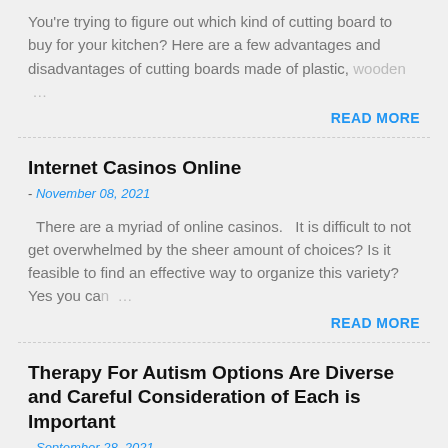You're trying to figure out which kind of cutting board to buy for your kitchen? Here are a few advantages and disadvantages of cutting boards made of plastic, wooden …
READ MORE
Internet Casinos Online
- November 08, 2021
There are a myriad of online casinos.   It is difficult to not get overwhelmed by the sheer amount of choices? Is it feasible to find an effective way to organize this variety?   Yes you can …
READ MORE
Therapy For Autism Options Are Diverse and Careful Consideration of Each is Important
- September 28, 2021